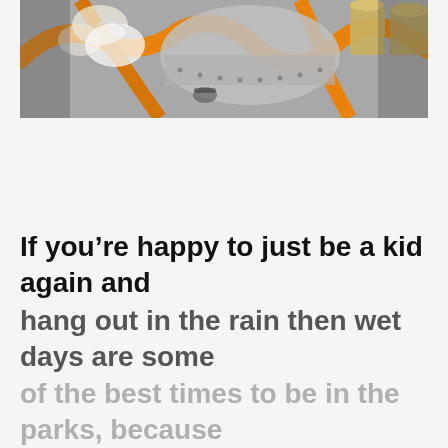[Figure (photo): Overhead/close-up photo of people at what appears to be an amusement park or outdoor event, showing hands, bags, orange equipment or ride parts, and a grey canopy or tent structure]
If you're happy to just be a kid again and hang out in the rain then wet days are some of the best times to be in the parks, because